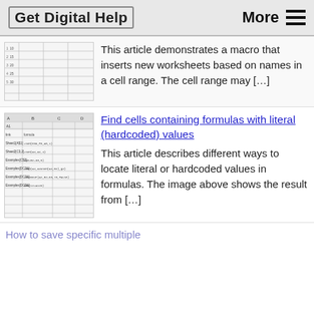Get Digital Help   More ☰
[Figure (screenshot): Spreadsheet thumbnail showing rows with small text]
This article demonstrates a macro that inserts new worksheets based on names in a cell range. The cell range may […]
[Figure (screenshot): Spreadsheet screenshot showing formulas with literal/hardcoded values in columns A, B, C, D]
Find cells containing formulas with literal (hardcoded) values
This article describes different ways to locate literal or hardcoded values in formulas. The image above shows the result from […]
How to save specific multiple